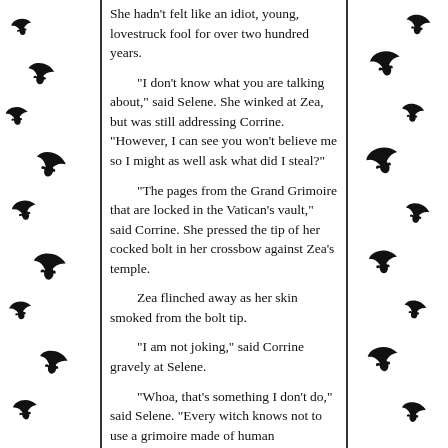[Figure (illustration): Black bat silhouettes decorating the left border column of the page]
[Figure (illustration): Black bat silhouettes decorating the right border column of the page]
She hadn't felt like an idiot, young, lovestruck fool for over two hundred years.
“I don’t know what you are talking about,” said Selene. She winked at Zea, but was still addressing Corrine. “However, I can see you won’t believe me so I might as well ask what did I steal?”
“The pages from the Grand Grimoire that are locked in the Vatican’s vault,” said Corrine. She pressed the tip of her cocked bolt in her crossbow against Zea’s temple.
Zea flinched away as her skin smoked from the bolt tip.
“I am not joking,” said Corrine gravely at Selene.
“Whoa, that’s something I don’t do,” said Selene. “Every witch knows not to use a grimoire made of human